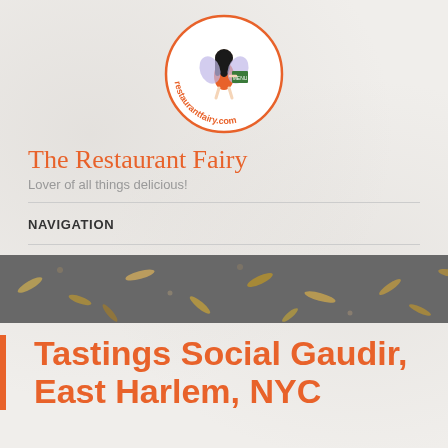[Figure (logo): Restaurant Fairy logo: cartoon fairy girl holding a menu, inside a red circle with 'restaurantfairy.com' text]
The Restaurant Fairy
Lover of all things delicious!
NAVIGATION
[Figure (photo): Close-up photo of ground/pavement with scattered autumn leaves and debris]
Tastings Social Gaudir, East Harlem, NYC